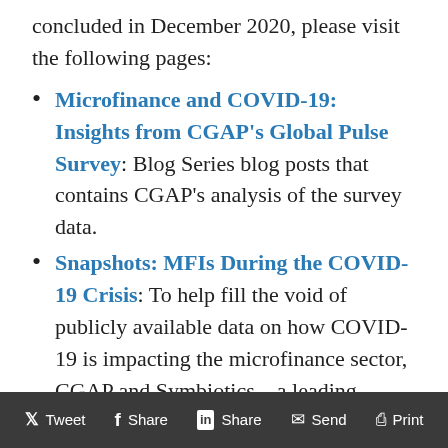concluded in December 2020, please visit the following pages:
Microfinance and COVID-19: Insights from CGAP's Global Pulse Survey: Blog Series blog posts that contains CGAP's analysis of the survey data.
Snapshots: MFIs During the COVID-19 Crisis: To help fill the void of publicly available data on how COVID-19 is impacting the microfinance sector, CGAP and Symbiotics – a leading microfinance investment vehicle – have partnered to analyze data on the performance of the more than 300 microfinance institutions
Tweet  Share  Share  Send  Print